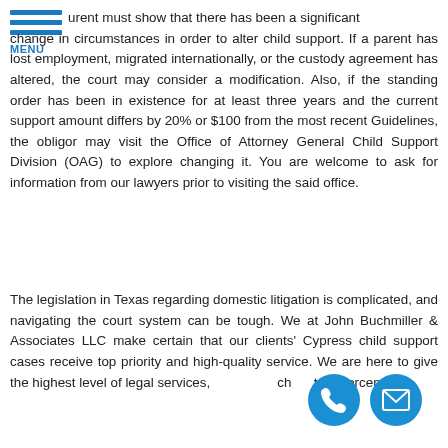MENU
urent must show that there has been a significant change in circumstances in order to alter child support. If a parent has lost employment, migrated internationally, or the custody agreement has altered, the court may consider a modification. Also, if the standing order has been in existence for at least three years and the current support amount differs by 20% or $100 from the most recent Guidelines, the obligor may visit the Office of Attorney General Child Support Division (OAG) to explore changing it. You are welcome to ask for information from our lawyers prior to visiting the said office.
The legislation in Texas regarding domestic litigation is complicated, and navigating the court system can be tough. We at John Buchmiller & Associates LLC make certain that our clients' Cypress child support cases receive top priority and high-quality service. We are here to give the highest level of legal services, ch to enforcement.